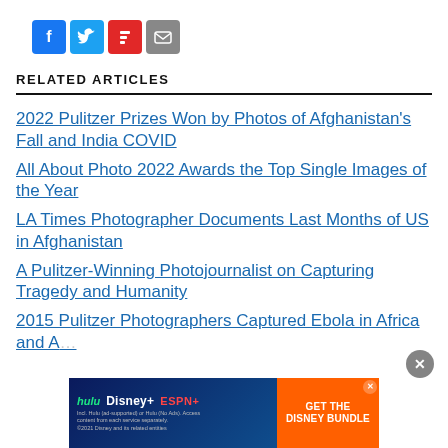[Figure (other): Social sharing icons: Facebook (blue), Twitter (light blue), Flipboard (red), Email (grey)]
RELATED ARTICLES
2022 Pulitzer Prizes Won by Photos of Afghanistan's Fall and India COVID
All About Photo 2022 Awards the Top Single Images of the Year
LA Times Photographer Documents Last Months of US in Afghanistan
A Pulitzer-Winning Photojournalist on Capturing Tragedy and Humanity
2015 Pulitzer Photographers Captured Ebola in Africa and A…
[Figure (other): Advertisement banner: Hulu, Disney+, ESPN+ - GET THE DISNEY BUNDLE. Incl. Hulu (ad-supported) or Hulu (No Ads). Access content from each service separately. ©2021 Disney and its related entities.]